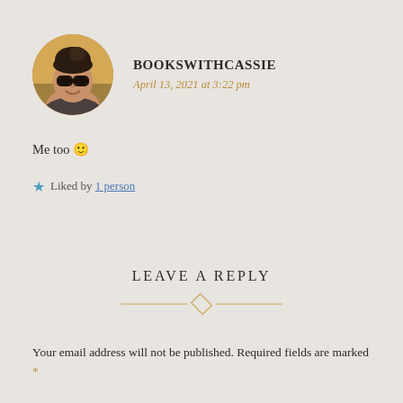[Figure (photo): Circular avatar photo of a young woman with glasses and hair up, smiling, with a warm outdoor background]
BOOKSWITHCASSIE
April 13, 2021 at 3:22 pm
Me too 🙂
★ Liked by 1 person
LEAVE A REPLY
Your email address will not be published. Required fields are marked *